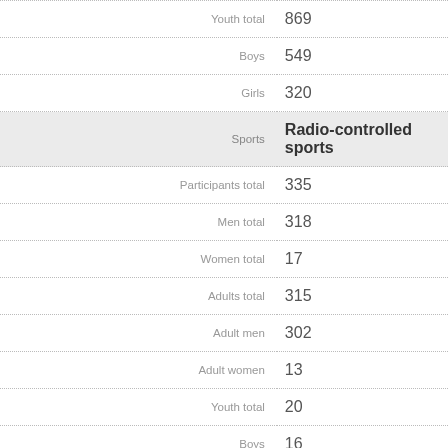| Label | Value |
| --- | --- |
| Youth total | 869 |
| Boys | 549 |
| Girls | 320 |
| Sports | Radio-controlled sports |
| Participants total | 335 |
| Men total | 318 |
| Women total | 17 |
| Adults total | 315 |
| Adult men | 302 |
| Adult women | 13 |
| Youth total | 20 |
| Boys | 16 |